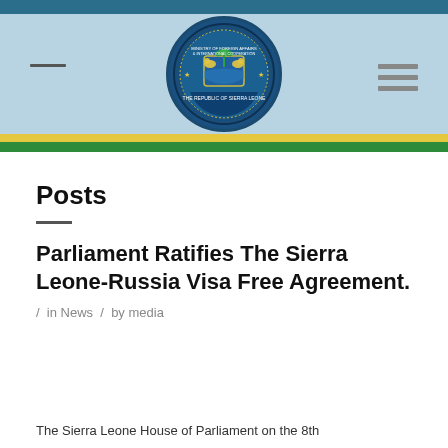[Figure (logo): Sierra Leone Ministry of Foreign Affairs & International Cooperation circular seal/logo with lion crest, palm trees, and text around the border on a blue background]
Posts
Parliament Ratifies The Sierra Leone-Russia Visa Free Agreement.
/ in News / by media
The Sierra Leone House of Parliament on the 8th...